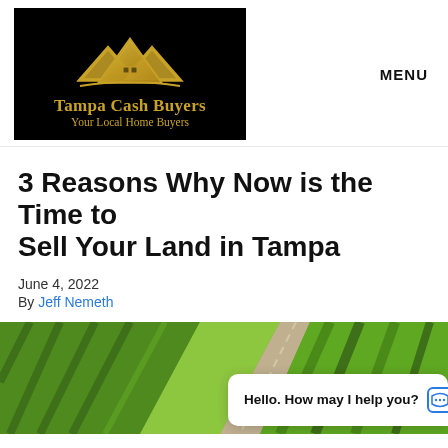[Figure (logo): Tampa Cash Buyers logo: gold roof/house icon on black background with text 'Tampa Cash Buyers' and 'Your Local Home Buyers' in gold]
MENU
3 Reasons Why Now is the Time to Sell Your Land in Tampa
June 4, 2022
By Jeff Nemeth
[Figure (photo): Aerial view of farmland/fields with a road cutting through green agricultural land]
Hello. How may I help you?